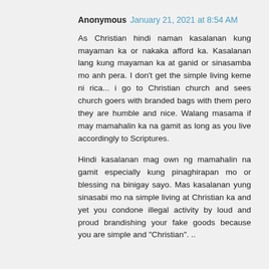Anonymous January 21, 2021 at 8:54 AM
As Christian hindi naman kasalanan kung mayaman ka or nakaka afford ka. Kasalanan lang kung mayaman ka at ganid or sinasamba mo anh pera. I don't get the simple living keme ni rica... i go to Christian church and sees church goers with branded bags with them pero they are humble and nice. Walang masama if may mamahalin ka na gamit as long as you live accordingly to Scriptures.
Hindi kasalanan mag own ng mamahalin na gamit especially kung pinaghirapan mo or blessing na binigay sayo. Mas kasalanan yung sinasabi mo na simple living at Christian ka and yet you condone illegal activity by loud and proud brandishing your fake goods because you are simple and "Christian". ..